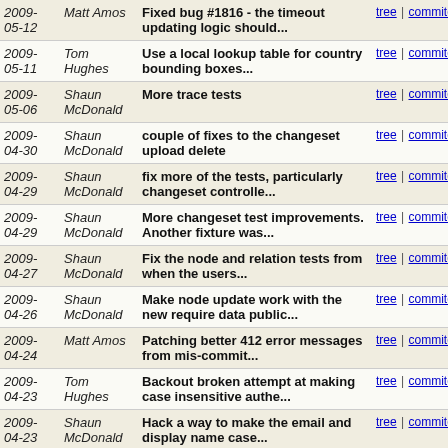| Date | Author | Message | Links |
| --- | --- | --- | --- |
| 2009-05-12 | Matt Amos | Fixed bug #1816 - the timeout updating logic should... | tree | commitdiff |
| 2009-05-11 | Tom Hughes | Use a local lookup table for country bounding boxes... | tree | commitdiff |
| 2009-05-06 | Shaun McDonald | More trace tests | tree | commitdiff |
| 2009-04-30 | Shaun McDonald | couple of fixes to the changeset upload delete | tree | commitdiff |
| 2009-04-29 | Shaun McDonald | fix more of the tests, particularly changeset controlle... | tree | commitdiff |
| 2009-04-29 | Shaun McDonald | More changeset test improvements. Another fixture was... | tree | commitdiff |
| 2009-04-27 | Shaun McDonald | Fix the node and relation tests from when the users... | tree | commitdiff |
| 2009-04-26 | Shaun McDonald | Make node update work with the new require data public... | tree | commitdiff |
| 2009-04-24 | Matt Amos | Patching better 412 error messages from mis-commit... | tree | commitdiff |
| 2009-04-23 | Tom Hughes | Backout broken attempt at making case insensitive authe... | tree | commitdiff |
| 2009-04-23 | Shaun McDonald | Hack a way to make the email and display name case... | tree | commitdiff |
| 2009-04-22 | Shaun McDonald | fixing some of the relation tests. Some adjustments... | tree | commitdiff |
| 2009-04-21 | Matt Amos | Fixed formatting and stuff in fixtures... | tree | commitdiff |